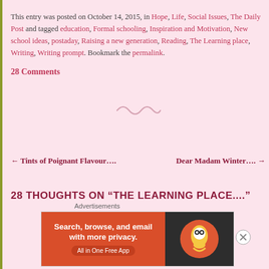This entry was posted on October 14, 2015, in Hope, Life, Social Issues, The Daily Post and tagged education, Formal schooling, Inspiration and Motivation, New school ideas, postaday, Raising a new generation, Reading, The Learning place, Writing, Writing prompt. Bookmark the permalink.
28 Comments
[Figure (illustration): Decorative swirl/tilde divider in light pink]
← Tints of Poignant Flavour....
Dear Madam Winter.... →
28 THOUGHTS ON “THE LEARNING PLACE....”
Advertisements
[Figure (screenshot): DuckDuckGo advertisement banner: Search, browse, and email with more privacy. All in One Free App]